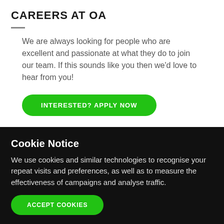CAREERS AT OA
We are always looking for people who are excellent and passionate at what they do to join our team. If this sounds like you then we'd love to hear from you!
INTERESTED? APPLY NOW
Need some help?
Cookie Notice
We use cookies and similar technologies to recognise your repeat visits and preferences, as well as to measure the effectiveness of campaigns and analyse traffic.
ACCEPT COOKIES